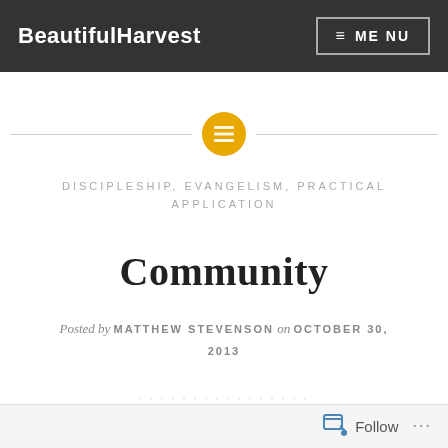BeautifulHarvest | MENU
[Figure (other): Horizontal divider lines with a gold/amber circular icon containing a list/menu symbol in the center]
DISCIPLESHIP, EVANGELISM, PRACTICAL APPLICATION
Community
Posted by MATTHEW STEVENSON on OCTOBER 30, 2013
Follow ...